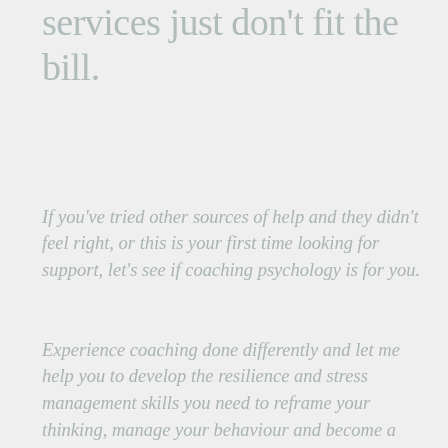services just don't fit the bill.
If you've tried other sources of help and they didn't feel right, or this is your first time looking for support, let's see if coaching psychology is for you.
Experience coaching done differently and let me help you to develop the resilience and stress management skills you need to reframe your thinking, manage your behaviour and become a stronger, happier person.